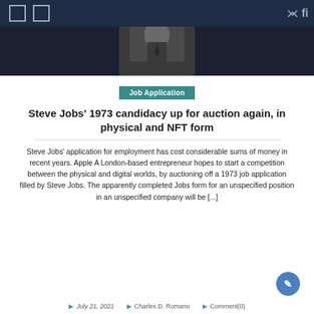Navigation bar with icons and search
[Figure (photo): Black and white photo of a person in a suit, cropped to show neck and collar area against dark background]
Job Application
Steve Jobs' 1973 candidacy up for auction again, in physical and NFT form
Steve Jobs' application for employment has cost considerable sums of money in recent years. Apple A London-based entrepreneur hopes to start a competition between the physical and digital worlds, by auctioning off a 1973 job application filled by Steve Jobs. The apparently completed Jobs form for an unspecified position in an unspecified company will be [...]
July 21, 2021  Charles D. Romano  Comment(0)